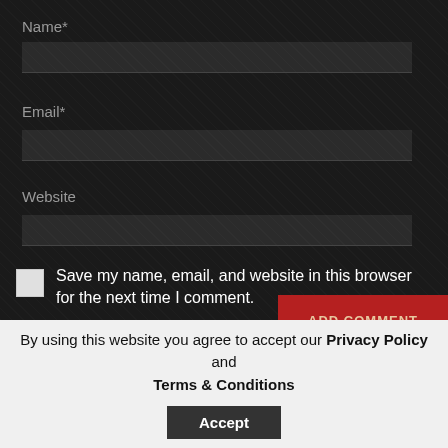Name*
Email*
Website
Save my name, email, and website in this browser for the next time I comment.
[Figure (other): reCAPTCHA widget with checkbox labeled I'm not a robot, Google reCAPTCHA logo, Privacy and Terms links]
[Figure (other): ADD COMMENT button in dark red/brown color]
By using this website you agree to accept our Privacy Policy and Terms & Conditions
Accept